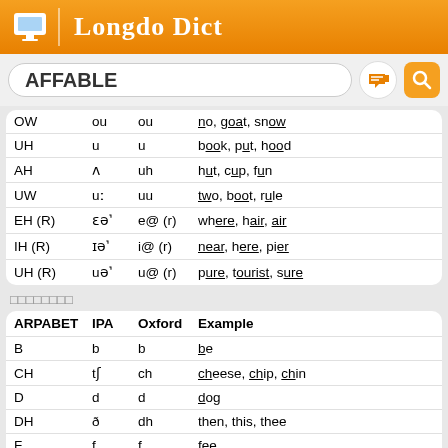Longdo Dict
AFFABLE
| ARPABET | IPA | Oxford | Example |
| --- | --- | --- | --- |
| OW | ou | ou | no, goat, snow |
| UH | u | u | book, put, hood |
| AH | ʌ | uh | hut, cup, fun |
| UW | uː | uu | two, boot, rule |
| EH (R) | ɛə˺ | e@ (r) | where, hair, air |
| IH (R) | ɪə˺ | i@ (r) | near, here, pier |
| UH (R) | uə˺ | u@ (r) | pure, tourist, sure |
พยัญชนะ
| ARPABET | IPA | Oxford | Example |
| --- | --- | --- | --- |
| B | b | b | be |
| CH | tʃ | ch | cheese, chip, chin |
| D | d | d | dog |
| DH | ð | dh | then, this, thee |
| F | f | f | fee |
| G | g | g | green |
| HH | h | h | he |
| JH | dʒ | jh | jam, judge, large |